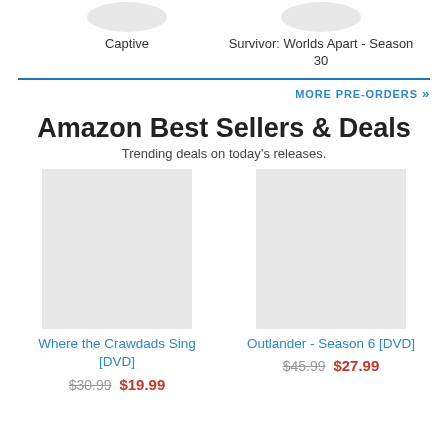Captive
Survivor: Worlds Apart - Season 30
MORE PRE-ORDERS
Amazon Best Sellers & Deals
Trending deals on today's releases.
Where the Crawdads Sing [DVD] $30.99 $19.99
Outlander - Season 6 [DVD] $45.99 $27.99